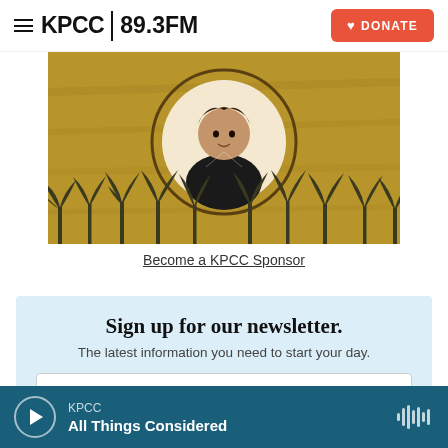≡ KPCC 89.3FM | DONATE
[Figure (photo): Radio show promotional image with golden/yellow background featuring a man in black shirt in a circular portrait, palm tree silhouettes at bottom]
Become a KPCC Sponsor
Sign up for our newsletter.
The latest information you need to start your day.
KPCC All Things Considered